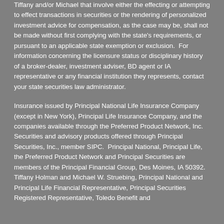Tiffany and/or Michael that involve either the effecting or attempting to effect transactions in securities or the rendering of personalized investment advice for compensation, as the case may be, shall not be made without first complying with the state's requirements, or pursuant to an applicable state exemption or exclusion.  For information concerning the licensure status or disciplinary history of a broker-dealer, investment adviser, BD agent or IA representative or any financial institution they represents, contact your state securities law administrator.
Insurance issued by Principal National Life Insurance Company (except in New York), Principal Life Insurance Company, and the companies available through the Preferred Product Network, Inc.  Securities and advisory products offered through Principal Securities, Inc., member SIPC.  Principal National, Principal Life, the Preferred Product Network and Principal Securities are members of the Principal Financial Group, Des Moines, IA 50392.  Tiffany Holman and Michael W. Struebing, Principal National and Principal Life Financial Representative, Principal Securities Registered Representative, Toledo Benefit and